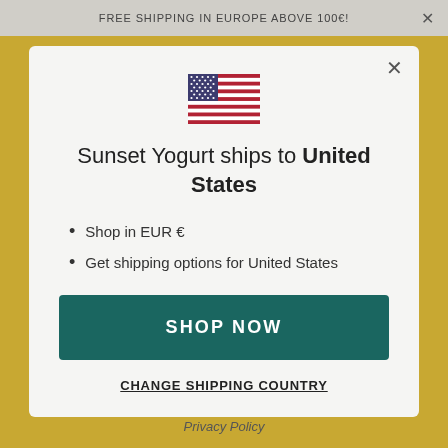FREE SHIPPING IN EUROPE ABOVE 100€!
[Figure (illustration): US flag emoji/icon]
Sunset Yogurt ships to United States
Shop in EUR €
Get shipping options for United States
SHOP NOW
CHANGE SHIPPING COUNTRY
Privacy Policy